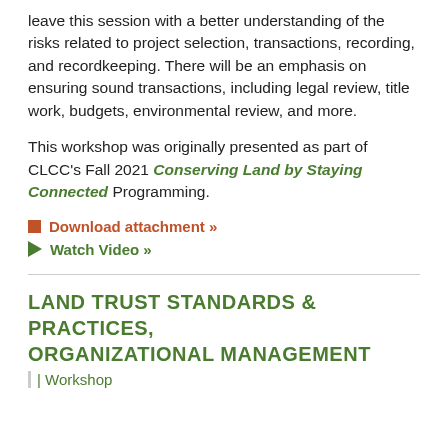leave this session with a better understanding of the risks related to project selection, transactions, recording, and recordkeeping. There will be an emphasis on ensuring sound transactions, including legal review, title work, budgets, environmental review, and more.
This workshop was originally presented as part of CLCC's Fall 2021 Conserving Land by Staying Connected Programming.
Download attachment »
Watch Video »
LAND TRUST STANDARDS & PRACTICES, ORGANIZATIONAL MANAGEMENT
| Workshop